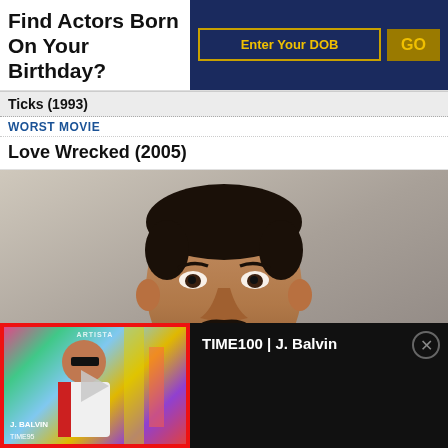Find Actors Born On Your Birthday?
Enter Your DOB | GO
Ticks (1993)
WORST MOVIE
Love Wrecked (2005)
[Figure (photo): Headshot of a smiling man in a suit against a grey background]
[Figure (photo): Video thumbnail of J. Balvin performing, with TIME100 label]
TIME100 | J. Balvin